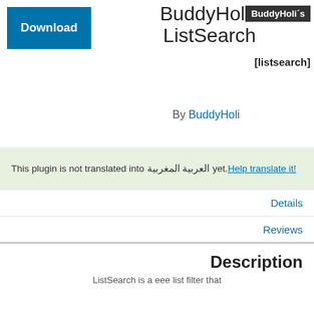[Figure (screenshot): Download button - blue rectangle with white text]
BuddyHolis ListSearch
BuddyHoli´s
[listsearch]
By BuddyHoli
This plugin is not translated into العربية المغربية yet. Help translate it!
Details
Reviews
Installation
Support
Development
Description
ListSearch is a eee list filter that